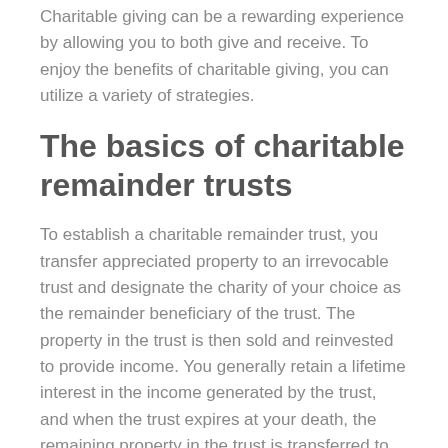Charitable giving can be a rewarding experience by allowing you to both give and receive. To enjoy the benefits of charitable giving, you can utilize a variety of strategies.
The basics of charitable remainder trusts
To establish a charitable remainder trust, you transfer appreciated property to an irrevocable trust and designate the charity of your choice as the remainder beneficiary of the trust. The property in the trust is then sold and reinvested to provide income. You generally retain a lifetime interest in the income generated by the trust, and when the trust expires at your death, the remaining property in the trust is transferred to the charitable organization.
You are entitled to a current income tax deduction for the charitable gift, subject to certain limits. And because the property was sold within the charitable...